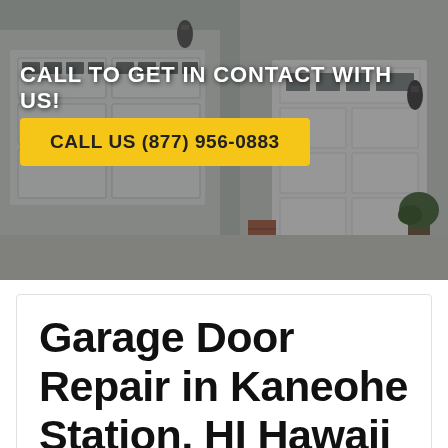[Figure (photo): Photo of a residential garage with white garage doors and a dark overlay]
CALL TO GET IN CONTACT WITH US!
CALL US (877) 956-0883
Garage Door Repair in Kaneohe Station, HI Hawaii 96734